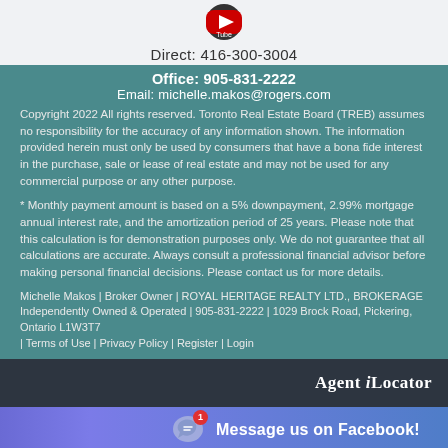[Figure (logo): YouTube logo icon, circular with play button]
Direct: 416-300-3004
Office: 905-831-2222
Email: michelle.makos@rogers.com
Copyright 2022 All rights reserved. Toronto Real Estate Board (TREB) assumes no responsibility for the accuracy of any information shown. The information provided herein must only be used by consumers that have a bona fide interest in the purchase, sale or lease of real estate and may not be used for any commercial purpose or any other purpose.
* Monthly payment amount is based on a 5% downpayment, 2.99% mortgage annual interest rate, and the amortization period of 25 years. Please note that this calculation is for demonstration purposes only. We do not guarantee that all calculations are accurate. Always consult a professional financial advisor before making personal financial decisions. Please contact us for more details.
Michelle Makos | Broker Owner | ROYAL HERITAGE REALTY LTD., BROKERAGE Independently Owned & Operated | 905-831-2222 | 1029 Brock Road, Pickering, Ontario L1W3T7
| Terms of Use | Privacy Policy | Register | Login
[Figure (logo): Agent Locator logo in white serif font on dark background]
[Figure (other): Facebook Messenger chat button with notification badge showing '1' and text 'Message us on Facebook!']